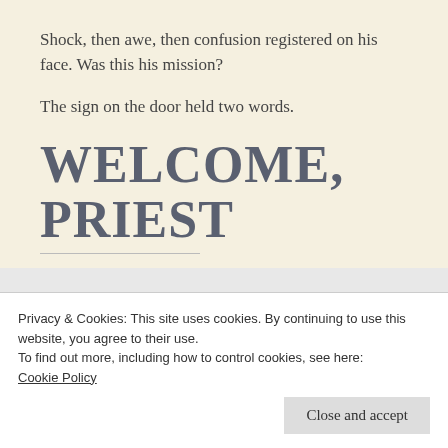Shock, then awe, then confusion registered on his face. Was this his mission?
The sign on the door held two words.
WELCOME, PRIEST
Almighty Father, grant this servant of yours the dignity of the priesthood. Renew within him the
Privacy & Cookies: This site uses cookies. By continuing to use this website, you agree to their use.
To find out more, including how to control cookies, see here:
Cookie Policy